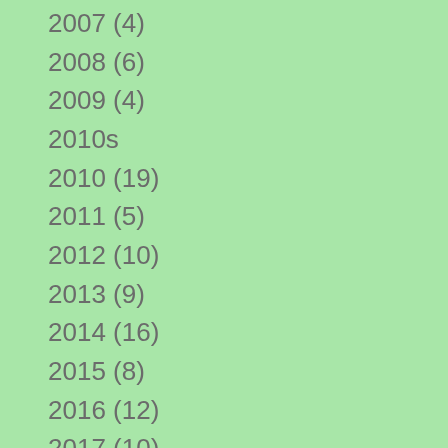2007 (4)
2008 (6)
2009 (4)
2010s
2010 (19)
2011 (5)
2012 (10)
2013 (9)
2014 (16)
2015 (8)
2016 (12)
2017 (10)
2018 (4)
2019 (16)
2020s
2020 (48)
2021 (13)
2022 (11)